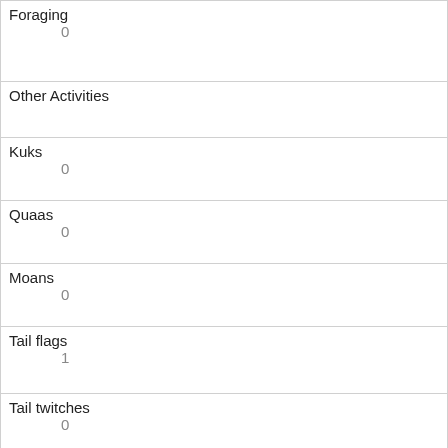| Foraging | 0 |
| Other Activities |  |
| Kuks | 0 |
| Quaas | 0 |
| Moans | 0 |
| Tail flags | 1 |
| Tail twitches | 0 |
| Approaches | 0 |
| Indifferent | 1 |
| Runs from | 0 |
| Other Interactions |  |